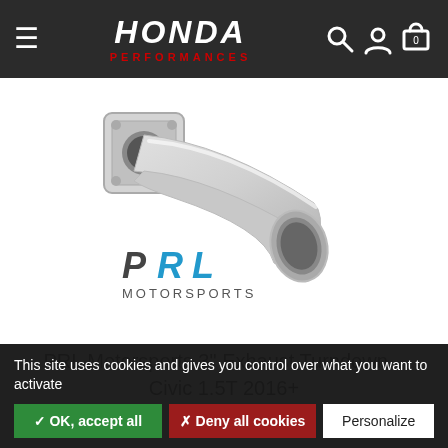HONDA PERFORMANCES
[Figure (photo): PRL Motorsports exhaust turndown pipe - stainless steel 3 inch tube with flange at one end and angled cut at the other end. PRL Motorsports logo visible below the product.]
PRL Motorsports 3" Exhaust Turndown – Civic 1.5T 2016+
This site uses cookies and gives you control over what you want to activate
✓ OK, accept all   ✗ Deny all cookies   Personalize